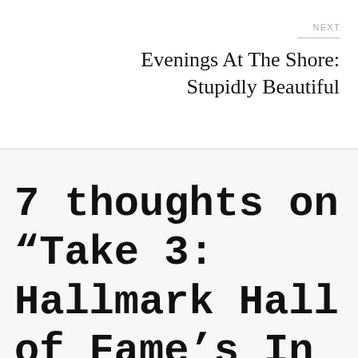NEXT
Evenings At The Shore: Stupidly Beautiful
7 thoughts on “Take 3: Hallmark Hall of Fame’s In Love and War